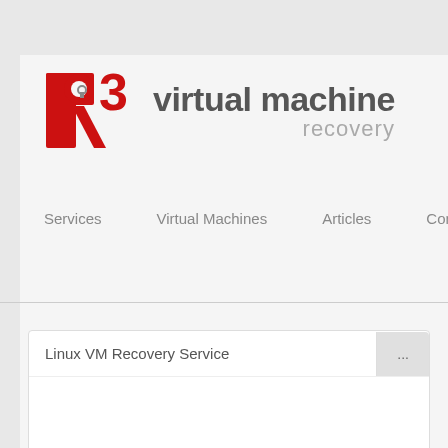[Figure (logo): R3 Virtual Machine Recovery logo with red stylized R3 letters and grey text 'virtual machine recovery']
Services   Virtual Machines   Articles   Contact Us
Linux VM Recovery Service ...